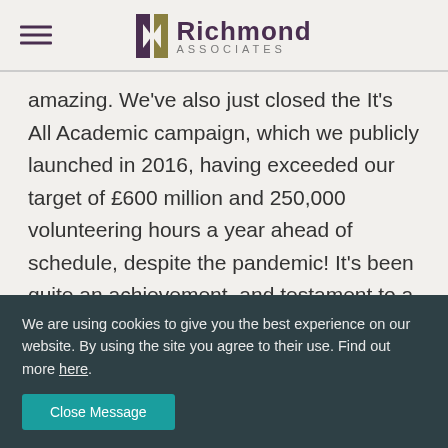Richmond Associates
amazing. We've also just closed the It's All Academic campaign, which we publicly launched in 2016, having exceeded our target of £600 million and 250,000 volunteering hours a year ahead of schedule, despite the pandemic! It's been quite an achievement, and testament to a brilliant team, a
We are using cookies to give you the best experience on our website. By using the site you agree to their use. Find out more here.
Close Message